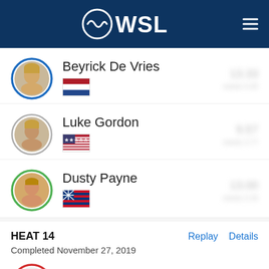WSL
Beyrick De Vries
Luke Gordon
Dusty Payne
HEAT 14
Completed November 27, 2019
Ricardo Christie